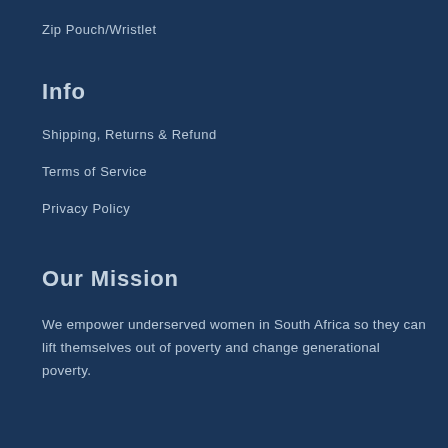Zip Pouch/Wristlet
Info
Shipping, Returns & Refund
Terms of Service
Privacy Policy
Our Mission
We empower underserved women in South Africa so they can lift themselves out of poverty and change generational poverty.